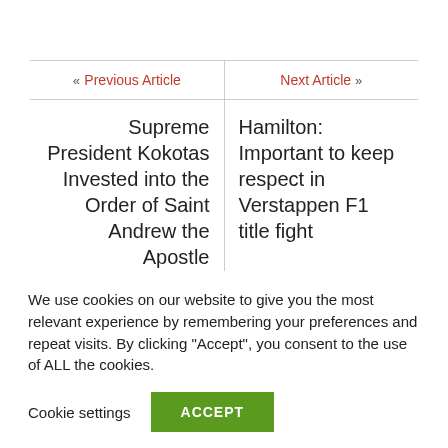| Previous Article | Next Article |
| --- | --- |
| Supreme President Kokotas Invested into the Order of Saint Andrew the Apostle | Hamilton: Important to keep respect in Verstappen F1 title fight |
| NOVEMBER 5... | NOVEMBER 5, 2021 |
We use cookies on our website to give you the most relevant experience by remembering your preferences and repeat visits. By clicking “Accept”, you consent to the use of ALL the cookies.
Cookie settings
ACCEPT